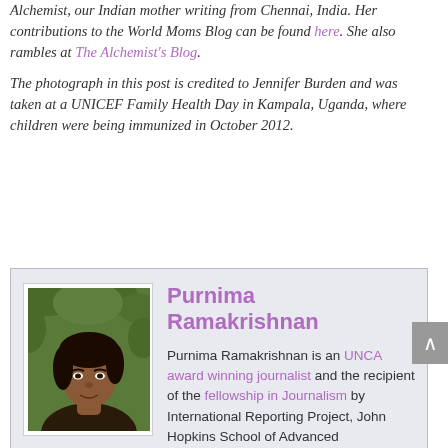Alchemist, our Indian mother writing from Chennai, India. Her contributions to the World Moms Blog can be found here. She also rambles at The Alchemist's Blog.
The photograph in this post is credited to Jennifer Burden and was taken at a UNICEF Family Health Day in Kampala, Uganda, where children were being immunized in October 2012.
[Figure (photo): Author bio card with photo of Purnima Ramakrishnan (Indian woman with dark hair against green background) on the left, and her name and bio text on the right. The bio states: Purnima Ramakrishnan is an UNCA award winning journalist and the recipient of the fellowship in Journalism by International Reporting Project, John Hopkins School of Advanced International...]
Purnima Ramakrishnan
Purnima Ramakrishnan is an UNCA award winning journalist and the recipient of the fellowship in Journalism by International Reporting Project, John Hopkins School of Advanced International